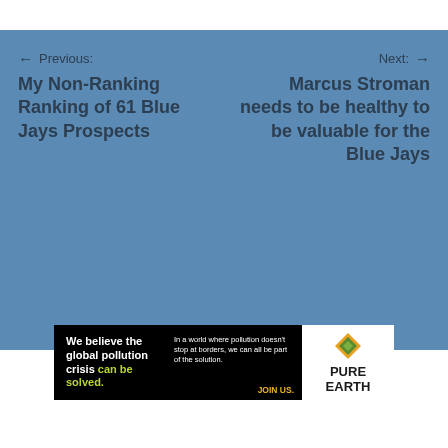← Previous: My Non-Ranking Ranking of 61 Blue Jays Prospects
Next: → Marcus Stroman needs to be healthy to be valuable for the Blue Jays
[Figure (infographic): Pure Earth advertisement: We believe the global pollution crisis can be solved. In a world where pollution doesn't stop at borders, we can all be part of the solution. JOIN US. PURE EARTH logo.]